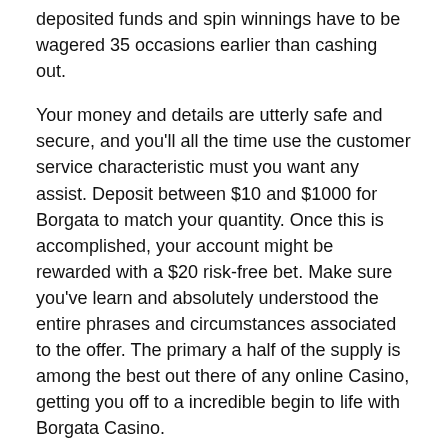deposited funds and spin winnings have to be wagered 35 occasions earlier than cashing out.
Your money and details are utterly safe and secure, and you'll all the time use the customer service characteristic must you want any assist. Deposit between $10 and $1000 for Borgata to match your quantity. Once this is accomplished, your account might be rewarded with a $20 risk-free bet. Make sure you've learn and absolutely understood the entire phrases and circumstances associated to the offer. The primary a half of the supply is among the best out there of any online Casino, getting you off to a incredible begin to life with Borgata Casino.
Comedian Play Casino No Deposit Bonus Codes
No deposit bonuses will usually come with small wagering requirements, only requiring you to wager your stake a couple of instances over at most before you're in a place to withdraw any winnings. For wagering necessities, you'll need to position bets with the casino bonus funds given to you so you can wager some more. Make certain to follow deposit bets and minimal guess rules